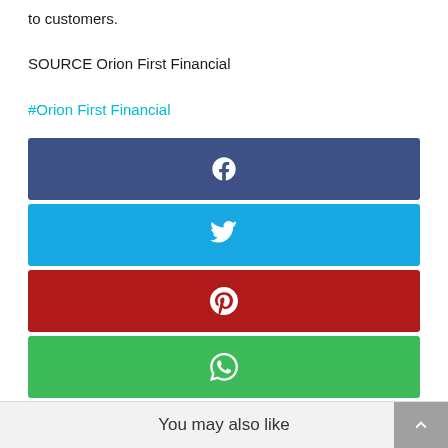to customers.
SOURCE Orion First Financial
#Orion First Financial
[Figure (infographic): Four social media share buttons stacked vertically: Facebook (dark blue with 'f' icon), Twitter (light blue with bird icon), Pinterest (dark red with 'P' icon), WhatsApp (green with phone icon)]
You may also like